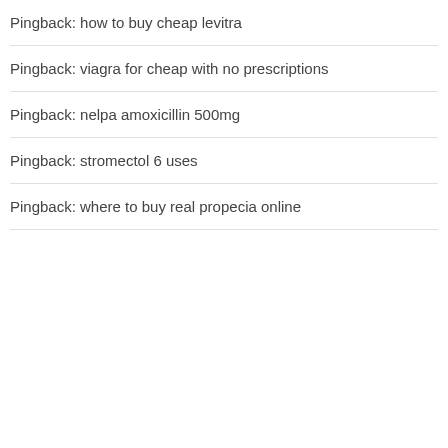Pingback: how to buy cheap levitra
Pingback: viagra for cheap with no prescriptions
Pingback: nelpa amoxicillin 500mg
Pingback: stromectol 6 uses
Pingback: where to buy real propecia online